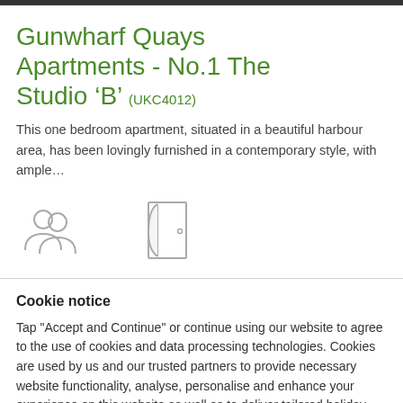Gunwharf Quays Apartments - No.1 The Studio 'B' (UKC4012)
This one bedroom apartment, situated in a beautiful harbour area, has been lovingly furnished in a contemporary style, with ample…
[Figure (illustration): Two icons: silhouette of two people (guests icon) and an open door icon]
Cookie notice
Tap "Accept and Continue" or continue using our website to agree to the use of cookies and data processing technologies. Cookies are used by us and our trusted partners to provide necessary website functionality, analyse, personalise and enhance your experience on this website as well as to deliver tailored holiday-related ads on other websites.
Accept and Continue